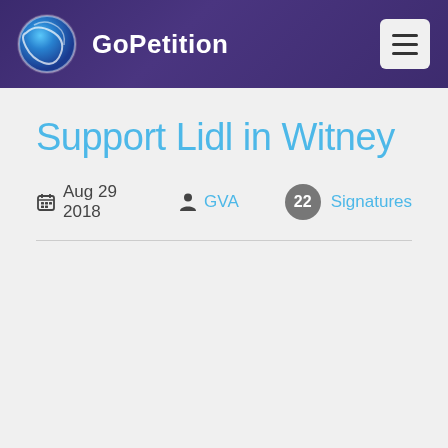GoPetition
Support Lidl in Witney
Aug 29 2018  GVA  22 Signatures